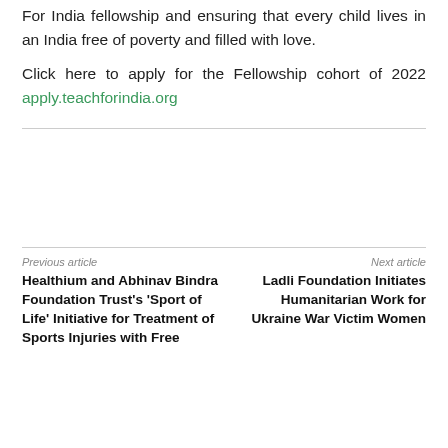For India fellowship and ensuring that every child lives in an India free of poverty and filled with love.
Click here to apply for the Fellowship cohort of 2022 apply.teachforindia.org
Previous article
Next article
Healthium and Abhinav Bindra Foundation Trust's 'Sport of Life' Initiative for Treatment of Sports Injuries with Free
Ladli Foundation Initiates Humanitarian Work for Ukraine War Victim Women